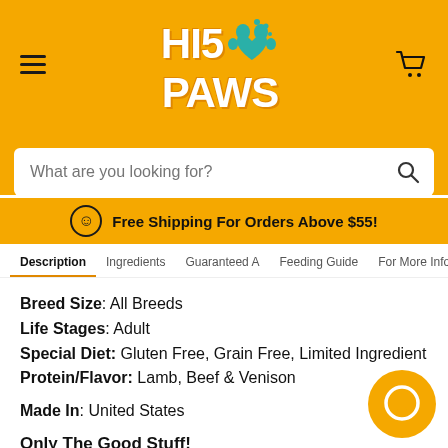[Figure (logo): Hi5 Paws logo with paw print and heart icon on golden/yellow background]
What are you looking for?
Free Shipping For Orders Above $55!
Description   Ingredients   Guaranteed A   Feeding Guide   For More Infor
Breed Size: All Breeds
Life Stages: Adult
Special Diet: Gluten Free, Grain Free, Limited Ingredient
Protein/Flavor: Lamb, Beef & Venison
Made In: United States
Only The Good Stuff!
Protein-rich baked kibble